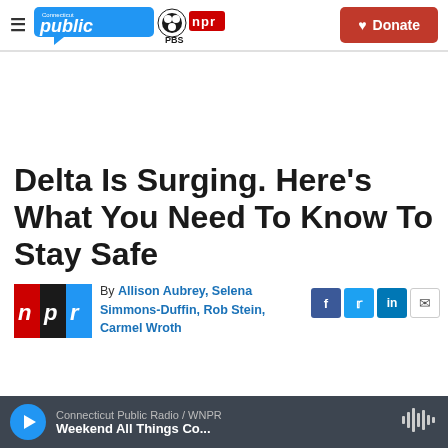Connecticut Public | PBS | NPR — Donate
Delta Is Surging. Here's What You Need To Know To Stay Safe
By Allison Aubrey, Selena Simmons-Duffin, Rob Stein, Carmel Wroth
Connecticut Public Radio / WNPR — Weekend All Things Co...